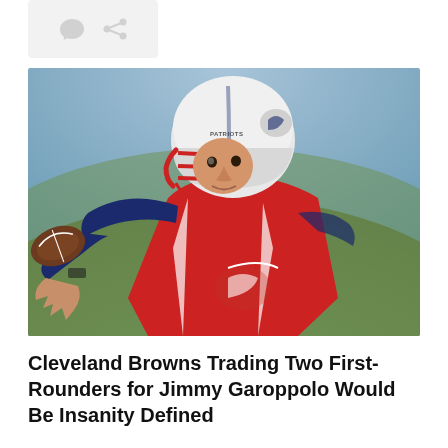[Figure (other): Icon bar with comment bubble and share icons on a light gray rounded rectangle background]
[Figure (photo): A New England Patriots quarterback wearing a red jersey and white helmet with a red facemask, holding a football in throwing position during practice. The background is a blurred green field.]
Cleveland Browns Trading Two First-Rounders for Jimmy Garoppolo Would Be Insanity Defined